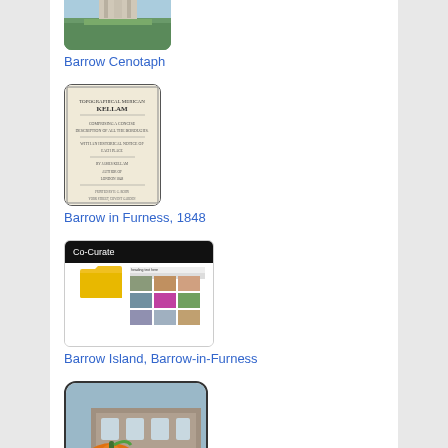[Figure (photo): Barrow Cenotaph - stone monument with columns outdoors]
Barrow Cenotaph
[Figure (photo): Old book or document - Barrow in Furness 1848 historical publication]
Barrow in Furness, 1848
[Figure (screenshot): Co-Curate website screenshot with yellow folder icon and image grid]
Barrow Island, Barrow-in-Furness
[Figure (photo): Barrow Library building with large orange pumpkin sculpture in front]
Barrow Library
[Figure (photo): Partial view of a park or garden with trees and a pavilion structure]